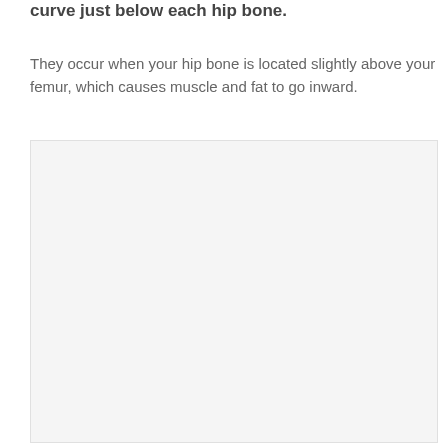curve just below each hip bone.
They occur when your hip bone is located slightly above your femur, which causes muscle and fat to go inward.
[Figure (photo): A light gray blank image placeholder, likely showing a hip/body photo related to hip dips anatomy.]